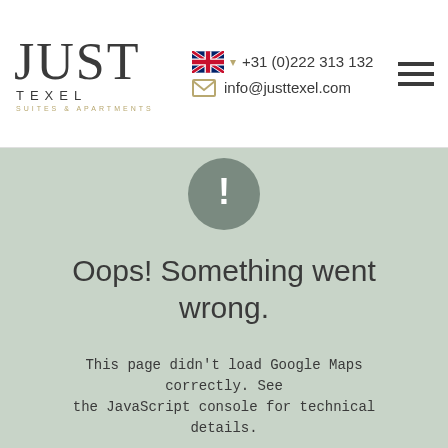[Figure (logo): Just Texel Suites & Apartments logo with stylized lettering]
+31 (0)222 313 132
info@justtexel.com
[Figure (screenshot): Google Maps error area with light sage green background]
Oops! Something went wrong.
This page didn't load Google Maps correctly. See the JavaScript console for technical details.